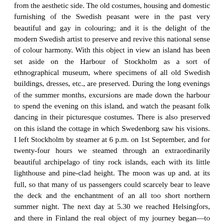from the aesthetic side. The old costumes, housing and domestic furnishing of the Swedish peasant were in the past very beautiful and gay in colouring; and it is the delight of the modern Swedish artist to preserve and revive this national sense of colour harmony. With this object in view an island has been set aside on the Harbour of Stockholm as a sort of ethnographical museum, where specimens of all old Swedish buildings, dresses, etc., are preserved. During the long evenings of the summer months, excursions are made down the harbour to spend the evening on this island, and watch the peasant folk dancing in their picturesque costumes. There is also preserved on this island the cottage in which Swedenborg saw his visions. I left Stockholm by steamer at 6 p.m. on 1st September, and for twenty-four hours we steamed through an extraordinarily beautiful archipelago of tiny rock islands, each with its little lighthouse and pine-clad height. The moon was up and. at its full, so that many of us passengers could scarcely bear to leave the deck and the enchantment of an all too short northern summer night. The next day at 5.30 we reached Helsingfors, and there in Finland the real object of my journey began—to find out how the Finnish Women had gained their political emancipation, for at that moment of the international suffrage movement the Finnish woman was looked up to by her unemancipated sister women throughout Europe as